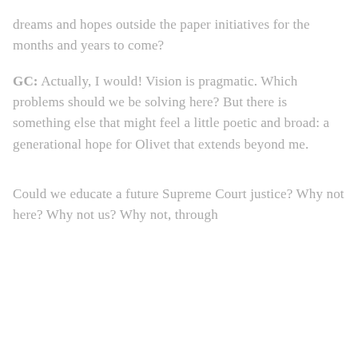dreams and hopes outside the paper initiatives for the months and years to come?
GC: Actually, I would! Vision is pragmatic. Which problems should we be solving here? But there is something else that might feel a little poetic and broad: a generational hope for Olivet that extends beyond me.
Could we educate a future Supreme Court justice? Why not here? Why not us? Why not, through